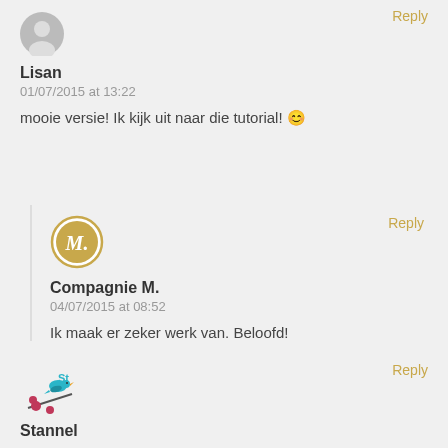[Figure (illustration): Grey circular avatar placeholder for Lisan]
Lisan
01/07/2015 at 13:22
mooie versie! Ik kijk uit naar die tutorial! 🙂
Reply
[Figure (logo): Compagnie M. logo: golden circle with M. initial inside]
Compagnie M.
04/07/2015 at 08:52
Ik maak er zeker werk van. Beloofd!
Reply
[Figure (logo): Stannel avatar: bird on branch with flowers illustration]
Stannel